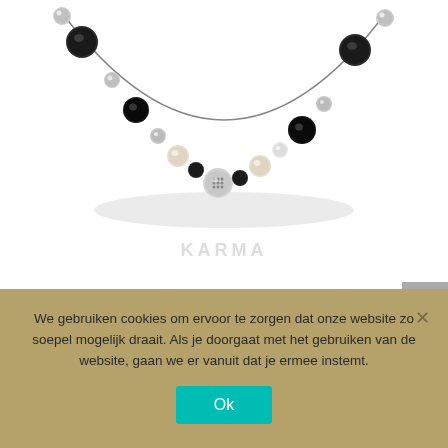[Figure (photo): Close-up photo of a Karma Bohemian Necklace Silver, showing beads including black faceted stones, silver balls, white/cream pearls, and a silver pavé bead, on a white background. Cropped so only the bottom arc of the necklace is visible.]
Karma Bohemian Necklace Silver
€34,95
♡  Voeg toe aan Wishlist
We gebruiken cookies om ervoor te zorgen dat onze website zo soepel mogelijk draait. Als je doorgaat met het gebruiken van de website, gaan we er vanuit dat je ermee instemt.